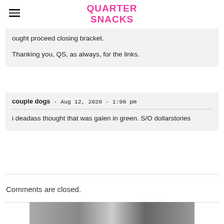QUARTER SNACKS
ought proceed closing bracket.
Thanking you, QS, as always, for the links.
couple dogs · Aug 12, 2020 · 1:00 pm
i deadass thought that was galen in green. S/O dollarstories
Comments are closed.
[Figure (photo): Partial bottom image visible, appears to be a photograph]